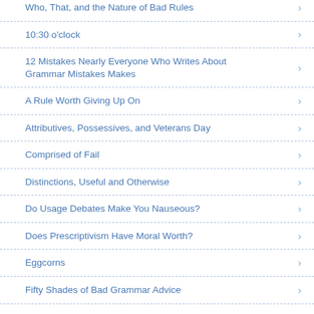Who, That, and the Nature of Bad Rules
10:30 o'clock
12 Mistakes Nearly Everyone Who Writes About Grammar Mistakes Makes
A Rule Worth Giving Up On
Attributives, Possessives, and Veterans Day
Comprised of Fail
Distinctions, Useful and Otherwise
Do Usage Debates Make You Nauseous?
Does Prescriptivism Have Moral Worth?
Eggcorns
Fifty Shades of Bad Grammar Advice